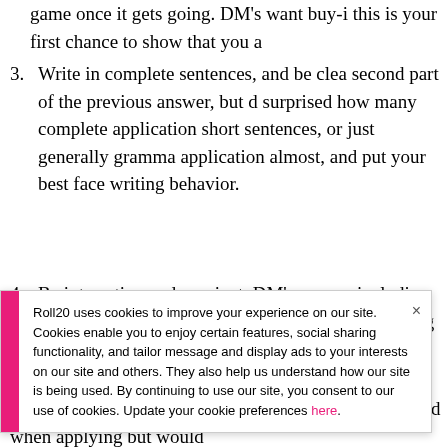game once it gets going. DM's want buy-i this is your first chance to show that you a
3. Write in complete sentences, and be clea second part of the previous answer, but d surprised how many complete application short sentences, or just generally gramma application almost, and put your best face writing behavior.
4. Be interesting and succinct. DM's may as including perhaps a character concept. Be overboard. A strong three sentence parag more traction than a huge backstory dump
Roll20 uses cookies to improve your experience on our site. Cookies enable you to enjoy certain features, social sharing functionality, and tailor message and display ads to your interests on our site and others. They also help us understand how our site is being used. By continuing to use our site, you consent to our use of cookies. Update your cookie preferences here.
situation such as a medical condition you message board when applying but would